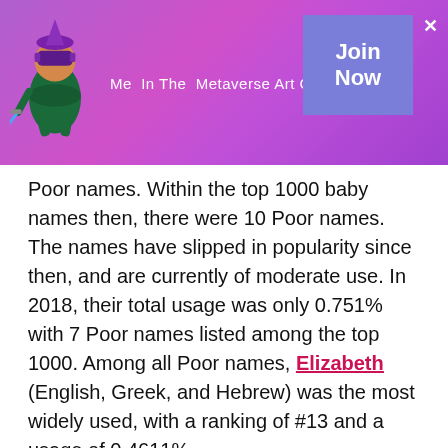[Figure (illustration): Purple/pink gradient banner with a cartoon metaverse character (purple ninja with VR headset), text 'Me In The Metaverse Art Contest!', and a 'Join Now' button with an X close icon]
Poor names. Within the top 1000 baby names then, there were 10 Poor names. The names have slipped in popularity since then, and are currently of moderate use. In 2018, their total usage was only 0.751% with 7 Poor names listed among the top 1000. Among all Poor names, Elizabeth (English, Greek, and Hebrew) was the most widely used, with a ranking of #13 and a usage of 0.4611%.
Adelinde — noble, honorable, weak, soft, gentle, ... a German name of Germanic origin ... not commonly used as a baby girl ...